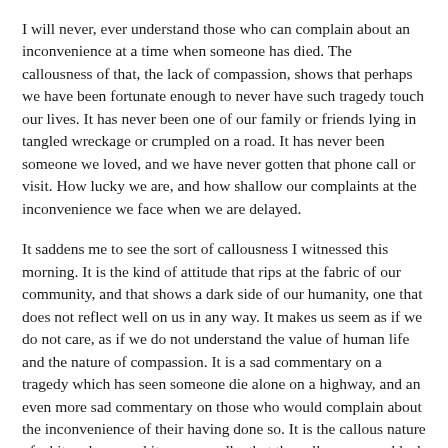I will never, ever understand those who can complain about an inconvenience at a time when someone has died. The callousness of that, the lack of compassion, shows that perhaps we have been fortunate enough to never have such tragedy touch our lives. It has never been one of our family or friends lying in tangled wreckage or crumpled on a road. It has never been someone we loved, and we have never gotten that phone call or visit. How lucky we are, and how shallow our complaints at the inconvenience we face when we are delayed.
It saddens me to see the sort of callousness I witnessed this morning. It is the kind of attitude that rips at the fabric of our community, and that shows a dark side of our humanity, one that does not reflect well on us in any way. It makes us seem as if we do not care, as if we do not understand the value of human life and the nature of compassion. It is a sad commentary on a tragedy which has seen someone die alone on a highway, and an even more sad commentary on those who would complain about the inconvenience of their having done so. It is the callous nature of a hit and run, and it seems, sadly, that the callousness and lack of compassion isn't limited to the hit and run driver alone. How tragic indeed.